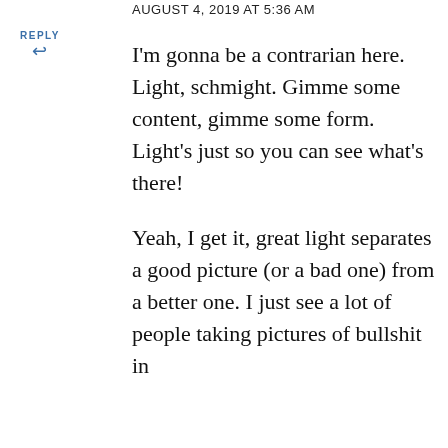AUGUST 4, 2019 AT 5:36 AM
REPLY
I'm gonna be a contrarian here. Light, schmight. Gimme some content, gimme some form. Light's just so you can see what's there!
Yeah, I get it, great light separates a good picture (or a bad one) from a better one. I just see a lot of people taking pictures of bullshit in